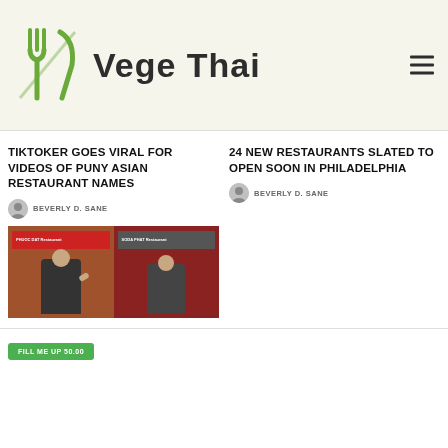Vege Thai
TIKTOKER GOES VIRAL FOR VIDEOS OF PUNY ASIAN RESTAURANT NAMES
BEVERLY D. SANE
[Figure (photo): Two-panel collage showing a man pointing at funny Asian restaurant signs]
24 NEW RESTAURANTS SLATED TO OPEN SOON IN PHILADELPHIA
BEVERLY D. SANE